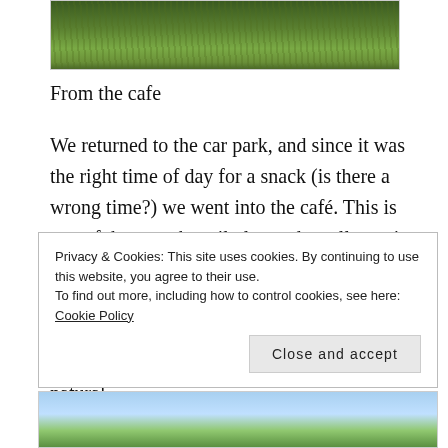[Figure (photo): Grassy hillside landscape photo, cropped at top showing green grass and meadow]
From the cafe
We returned to the car park, and since it was the right time of day for a snack (is there a wrong time?) we went into the café. This is one of the most happily located small eateries I've been in, with open views across the local dales. If you wish, and the weather permits, you can sit at one of the picnic tables outside and fully indulge in connection with the natural
Privacy & Cookies: This site uses cookies. By continuing to use this website, you agree to their use.
To find out more, including how to control cookies, see here: Cookie Policy
Close and accept
[Figure (photo): Landscape photo showing trees and blue sky, partially visible at the bottom of the page]